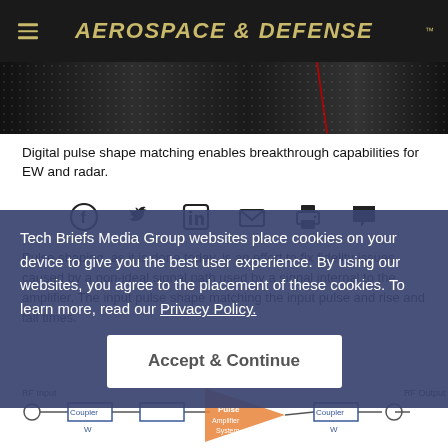AEROSPACE & DEFENSE
[Figure (photo): Dark photo of electronic/radar equipment, dimly lit with a red diagonal line visible]
Digital pulse shape matching enables breakthrough capabilities for EW and radar.
[Figure (infographic): Social share icons: Facebook, Twitter, LinkedIn, Email, Print, Comment]
Pulse shaping, as it is done today, is an effort to fix fidelity issues caused by a non-ideal signal path used by a signal internal to the amplifier. The input pulse shape matching the input pulse and rise and fall times.
Tech Briefs Media Group websites place cookies on your device to give you the best user experience. By using our websites, you agree to the placement of these cookies. To learn more, read our Privacy Policy.
[Figure (engineering-diagram): Block diagram showing RF Input, Coupler, Amplifier System, Pulse block, Coupler, RF Output signal chain]